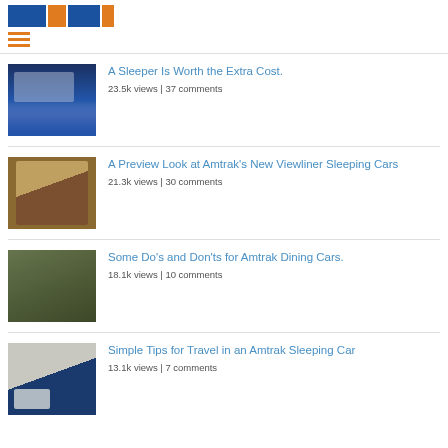Logo and navigation header
A Sleeper Is Worth the Extra Cost. | 23.5k views | 37 comments
A Preview Look at Amtrak’s New Viewliner Sleeping Cars | 21.3k views | 30 comments
Some Do’s and Don’ts for Amtrak Dining Cars. | 18.1k views | 10 comments
Simple Tips for Travel in an Amtrak Sleeping Car | 13.1k views | 7 comments